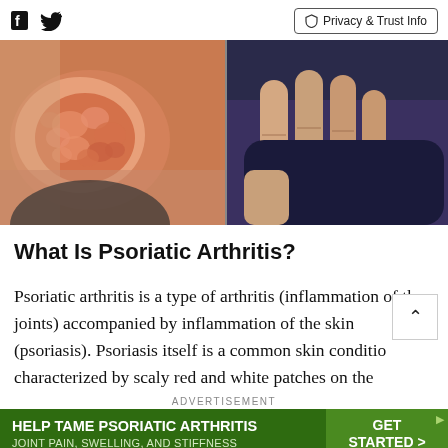Facebook Twitter | Privacy & Trust Info
[Figure (photo): Two medical photos side by side: left shows a close-up of skin with psoriasis (scaly, red, raised patches), right shows fingers/hand with swollen joints holding a dark blue object, illustrating psoriatic arthritis symptoms.]
What Is Psoriatic Arthritis?
Psoriatic arthritis is a type of arthritis (inflammation of the joints) accompanied by inflammation of the skin (psoriasis). Psoriasis itself is a common skin condition characterized by scaly red and white patches on the
ADVERTISEMENT
[Figure (infographic): Green advertisement banner: 'HELP TAME PSORIATIC ARTHRITIS JOINT PAIN, SWELLING, AND STIFFNESS For adults with active psoriatic arthritis (PsA)' with a 'GET STARTED >' button on the right. Reference code US-RNQR-200513.]